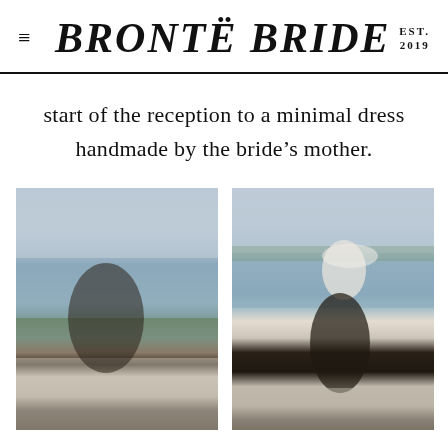≡  BRONTË BRIDE  EST. 2019
start of the reception to a minimal dress handmade by the bride's mother.
[Figure (photo): Wedding couple smiling together at waterfront, bride in white veil and dress, groom in dark suit with glasses]
[Figure (photo): Groom lifting bride who is laughing and wearing a veil, outdoor waterfront rocky shore setting]